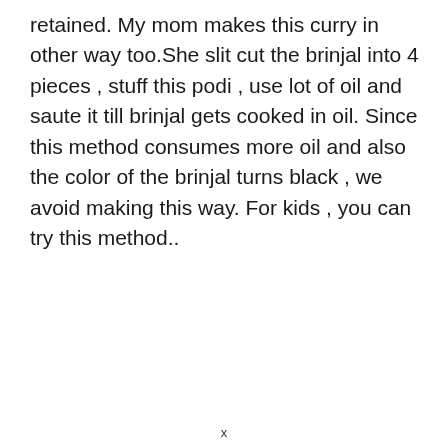retained. My mom makes this curry in other way too.She slit cut the brinjal into 4 pieces , stuff this podi , use lot of oil and saute it till brinjal gets cooked in oil. Since this method consumes more oil and also the color of the brinjal turns black , we avoid making this way. For kids , you can try this method..
x